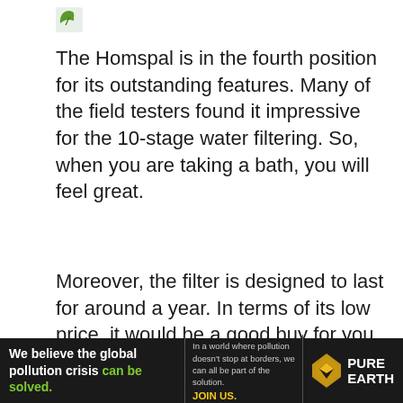[Figure (logo): Small green leaf/plant icon in top left area]
The Homspal is in the fourth position for its outstanding features. Many of the field testers found it impressive for the 10-stage water filtering. So, when you are taking a bath, you will feel great.
Moreover, the filter is designed to last for around a year. In terms of its low price, it would be a good buy for you. If you are suffering from hard water, you can depend on this device. While checking the filter, I liked the way of performance. It can really
[Figure (other): Pure Earth advertisement banner at bottom. Black background. Left: 'We believe the global pollution crisis can be solved.' Middle: 'In a world where pollution doesn't stop at borders, we can all be part of the solution. JOIN US.' Right: Pure Earth logo with diamond/arrow icon.]